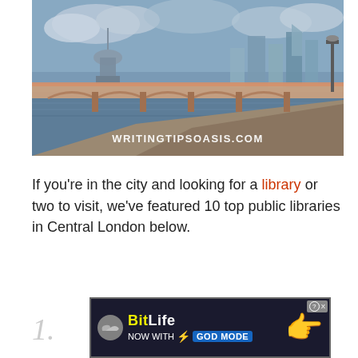[Figure (photo): Aerial view of a red bridge over the River Thames in London with city skyline in background including St Paul's Cathedral and modern skyscrapers. Watermark text reads WRITINGTIPSOASIS.COM]
If you're in the city and looking for a library or two to visit, we've featured 10 top public libraries in Central London below.
1. A...
[Figure (other): BitLife advertisement banner: 'NOW WITH GOD MODE' with lightning bolt graphic and pointing hand]